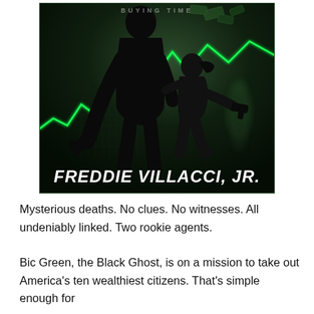[Figure (illustration): Book cover illustration: dark thriller/action book cover with silhouettes of two armed figures (a large man holding a pistol and a woman crouching with a gun) against a dark green background with a glowing green stock market chart line and floating money bills. A third shadowy figure appears in the background. The author name 'FREDDIE VILLACCI, JR.' appears in large bold italic white text at the bottom of the cover.]
Mysterious deaths. No clues. No witnesses. All undeniably linked. Two rookie agents.
Bic Green, the Black Ghost, is on a mission to take out America's ten wealthiest citizens. That's simple enough for